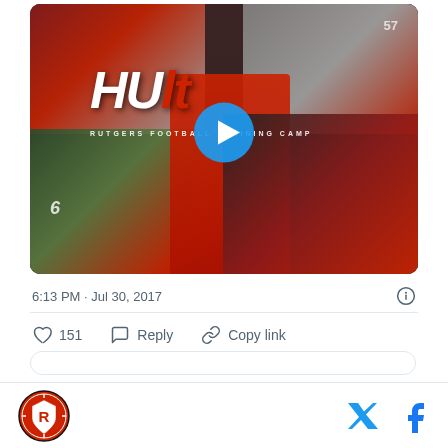[Figure (screenshot): Twitter/X embedded tweet showing a video thumbnail for Rutgers Football Training Camp 'HULT' video. The thumbnail is a photo collage of football players in red jerseys at practice, with the stylized HULT text logo and play button overlaid. Timestamp shows 6:13 PM · Jul 30, 2017. Action bar shows 151 likes, Reply, Copy link. Bottom bar shows Rutgers Football shield logo and Twitter/Facebook social icons.]